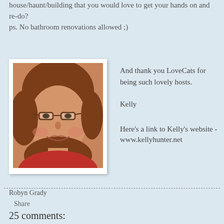house/haunt/building that you would love to get your hands on and re-do?
ps. No bathroom renovations allowed ;)
[Figure (photo): Headshot photo of Kelly Hunter, a woman with glasses, shoulder-length auburn hair, wearing a red top, smiling at the camera]
And thank you LoveCats for being such lovely hosts.

Kelly

Here's a link to Kelly's website - www.kellyhunter.net
Robyn Grady
Share
25 comments: